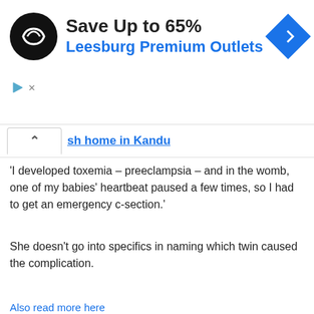[Figure (other): Advertisement banner: black circular logo with infinity-like symbol, text 'Save Up to 65% Leesburg Premium Outlets', blue diamond arrow icon on right, with play and close controls bottom left]
sh home in Kandu
'I developed toxemia – preeclampsia – and in the womb, one of my babies' heartbeat paused a few times, so I had to get an emergency c-section.'
She doesn't go into specifics in naming which twin caused the complication.
Also read more here
[Figure (infographic): Social share buttons bar: Facebook (f), Twitter (bird), Google+ (G+), Pinterest (P), LinkedIn (in)]
Photo Credits:
Read More:
SIMILAR STORIES
[Figure (photo): Partial bottom image showing a person's hands, warm beige/skin tones with light blue background on right]